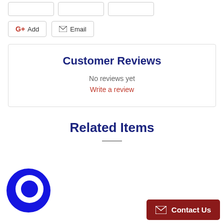[Figure (screenshot): Three placeholder button outlines at the top]
[Figure (screenshot): G+ Add and Email action buttons]
Customer Reviews
No reviews yet
Write a review
Related Items
[Figure (logo): Blue circular chat/messenger logo icon]
[Figure (screenshot): Contact Us red button with envelope icon]